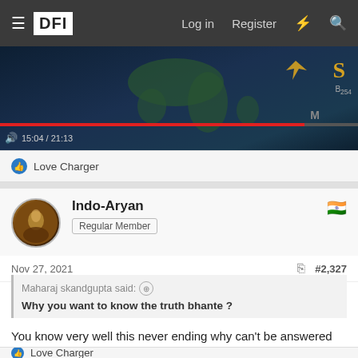≡ DFI   Log in   Register
[Figure (screenshot): Video player showing a map with a progress bar at 15:04 / 21:13 and a red seek bar]
👍 Love Charger
Indo-Aryan
Regular Member
Nov 27, 2021   #2,327
Maharaj skandgupta said: ⊕
Why you want to know the truth bhante ?
You know very well this never ending why can't be answered x_x
👍 Love Charger